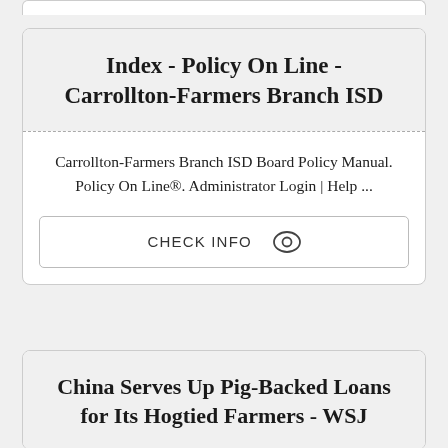Index - Policy On Line - Carrollton-Farmers Branch ISD
Carrollton-Farmers Branch ISD Board Policy Manual. Policy On Line®. Administrator Login | Help ...
CHECK INFO
China Serves Up Pig-Backed Loans for Its Hogtied Farmers - WSJ